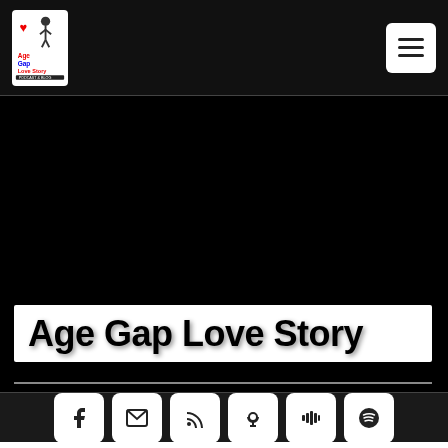[Figure (logo): Age Gap Love Story logo with heart and person silhouette icons, red and blue text on white background]
Age Gap Love Story
[Figure (infographic): Social media icon buttons: Facebook, Email/Envelope, RSS feed, Podcast, Stitcher, Spotify, YouTube]